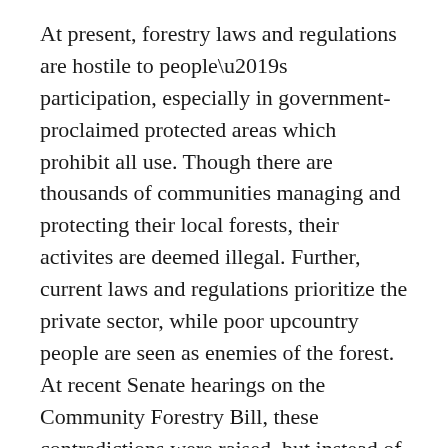At present, forestry laws and regulations are hostile to people's participation, especially in government-proclaimed protected areas which prohibit all use. Though there are thousands of communities managing and protecting their local forests, their activites are deemed illegal. Further, current laws and regulations prioritize the private sector, while poor upcountry people are seen as enemies of the forest. At recent Senate hearings on the Community Forestry Bill, these contradictions were raised, but instead of amending the harsh laws, the “gospel” was upheld. Local reality and decades-old laws are still in conflict.
These seven issues are not new, but have been long discussed. Most governments have not taken them into serious consideration, however, especially during the ten years before the economic crisis. In fact, government departments concerned with forest